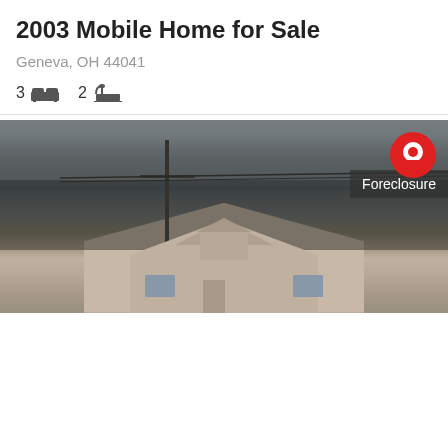[Figure (photo): Aerial/ground view of mobile home property with green lawn and gravel driveway, price overlay $58,000]
2003 Mobile Home for Sale
Geneva, OH 44041
3 beds 2 baths
[Figure (photo): Street view of house with bare trees, foreclosure label and map pin icon overlay]